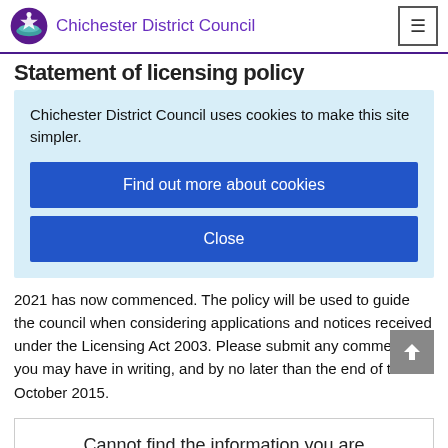Chichester District Council
Statement of licensing policy
Chichester District Council uses cookies to make this site simpler.
Find out more about cookies
Close
2021 has now commenced. The policy will be used to guide the council when considering applications and notices received under the Licensing Act 2003. Please submit any comments you may have in writing, and by no later than the end of the 4 October 2015.
Cannot find the information you are